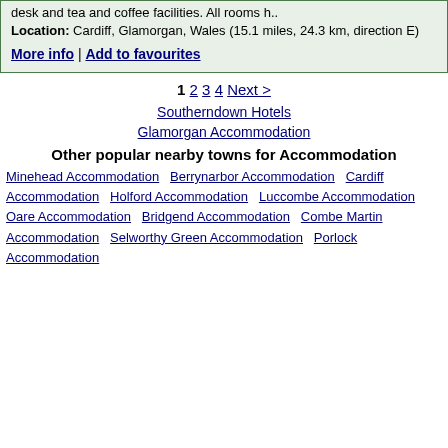desk and tea and coffee facilities. All rooms h..
Location: Cardiff, Glamorgan, Wales (15.1 miles, 24.3 km, direction E)
More info | Add to favourites
1 2 3 4 Next >
Southerndown Hotels
Glamorgan Accommodation
Other popular nearby towns for Accommodation
Minehead Accommodation
Berrynarbor Accommodation
Cardiff Accommodation
Holford Accommodation
Luccombe Accommodation
Oare Accommodation
Bridgend Accommodation
Combe Martin Accommodation
Selworthy Green Accommodation
Porlock Accommodation